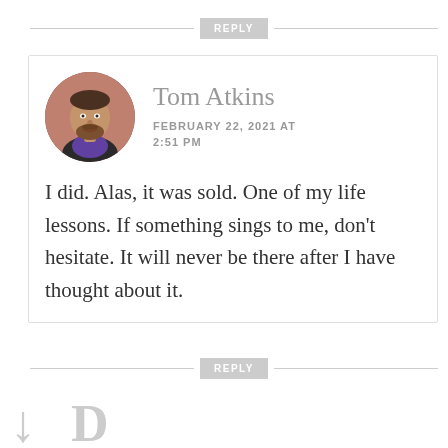REPLY
[Figure (photo): Circular avatar photo of Tom Atkins, a middle-aged man with a beard wearing a purple shirt, standing outdoors with a reddish-brown wall behind him.]
Tom Atkins
FEBRUARY 22, 2021 AT 2:51 PM
I did. Alas, it was sold. One of my life lessons. If something sings to me, don't hesitate. It will never be there after I have thought about it.
REPLY